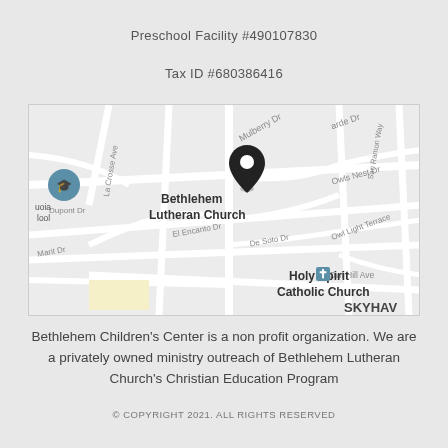Preschool Facility #490107830
Tax ID #680386416
[Figure (map): Google Maps screenshot showing the location of Bethlehem Lutheran Church near Holy Spirit Catholic Church, with streets including Mulberry Dr, La Crosse Ave, El Encanto Dr, De Soto Dr, Dupont Dr, Marit Dr, Owls Nest Dr, Owl Light Terrace, Owl Hill Ave, San Ramon Way, and the SKYHAV neighborhood label visible.]
Bethlehem Children's Center is a non profit organization.  We are a privately owned ministry outreach of Bethlehem Lutheran Church's Christian Education Program
© COPYRIGHT 2021. ALL RIGHTS RESERVED